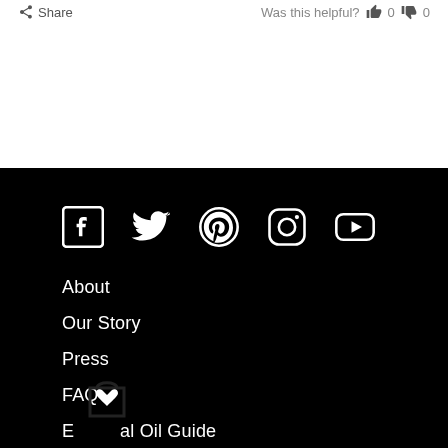Share
Was this helpful? 0 0
[Figure (other): Social media icons row: Facebook, Twitter, Pinterest, Instagram, YouTube on black background]
About
Our Story
Press
FAQ
Essential Oil Guide
Accessibility
[Figure (other): Wishlist/shopping bag with heart icon overlay]